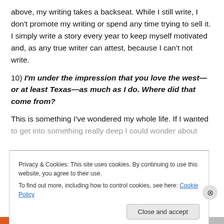above, my writing takes a backseat.  While I still write, I don't promote my writing or spend any time trying to sell it.  I simply write a story every year to keep myself motivated and, as any true writer can attest, because I can't not write.
10)  I'm under the impression that you love the west—or at least Texas—as much as I do.  Where did that come from?
This is something I've wondered my whole life.  If I wanted to get into something really deep I could wonder about
Privacy & Cookies: This site uses cookies. By continuing to use this website, you agree to their use.
To find out more, including how to control cookies, see here: Cookie Policy